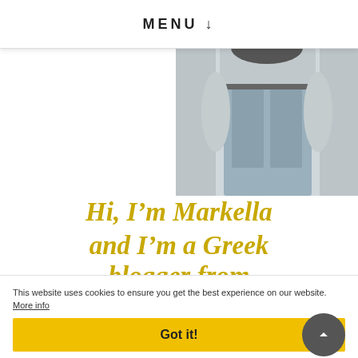MENU ↓
[Figure (photo): Black and white photo of a person wearing jeans, cropped to show torso/waist area]
Hi, I'm Markella and I'm a Greek blogger from Thessaloniki. Click here to read more about me.
This website uses cookies to ensure you get the best experience on our website. More info
Got it!